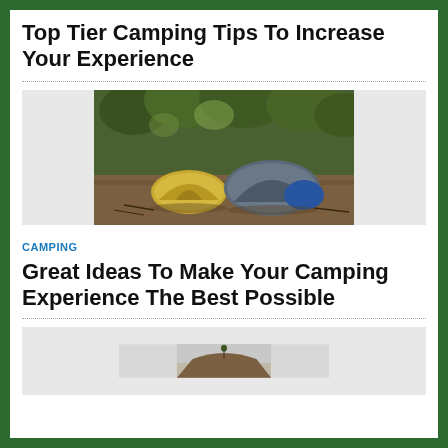Top Tier Camping Tips To Increase Your Experience
[Figure (photo): Two camping tents set up on a wooded dirt trail surrounded by green trees and foliage]
CAMPING
Great Ideas To Make Your Camping Experience The Best Possible
[Figure (photo): A rocky hill or small mountain with a lone tree on top against a hazy sky, bottom portion visible]